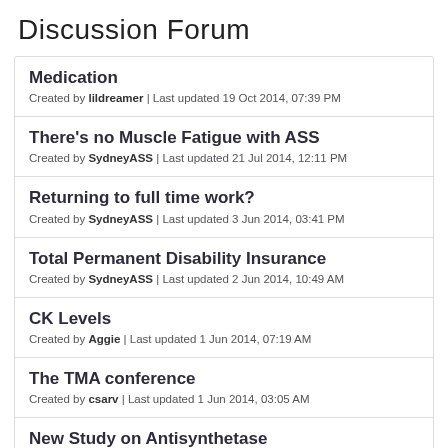Discussion Forum
Medication
Created by lildreamer | Last updated 19 Oct 2014, 07:39 PM
There's no Muscle Fatigue with ASS
Created by SydneyASS | Last updated 21 Jul 2014, 12:11 PM
Returning to full time work?
Created by SydneyASS | Last updated 3 Jun 2014, 03:41 PM
Total Permanent Disability Insurance
Created by SydneyASS | Last updated 2 Jun 2014, 10:49 AM
CK Levels
Created by Aggie | Last updated 1 Jun 2014, 07:19 AM
The TMA conference
Created by csarv | Last updated 1 Jun 2014, 03:05 AM
New Study on Antisynthetase